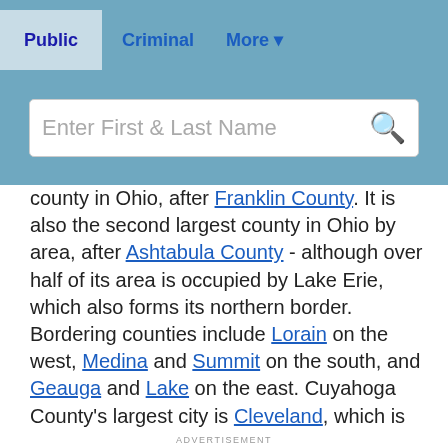Public | Criminal | More
[Figure (screenshot): Search bar with placeholder text 'Enter First & Last Name' and a magnifying glass icon]
county in Ohio, after Franklin County. It is also the second largest county in Ohio by area, after Ashtabula County - although over half of its area is occupied by Lake Erie, which also forms its northern border. Bordering counties include Lorain on the west, Medina and Summit on the south, and Geauga and Lake on the east. Cuyahoga County's largest city is Cleveland, which is also the county seat. Cleveland's location on Lake Erie contributes to its status as a manufacturing center. Cleveland is also home to many museums including the Rock and Roll Hall of Fame. Cuyahoga County includes 38 cities, 19 villages, and two townships. It is also home to over a dozen colleges and universities and professional football, baseball, and basketball teams. Take a look at the
ADVERTISEMENT